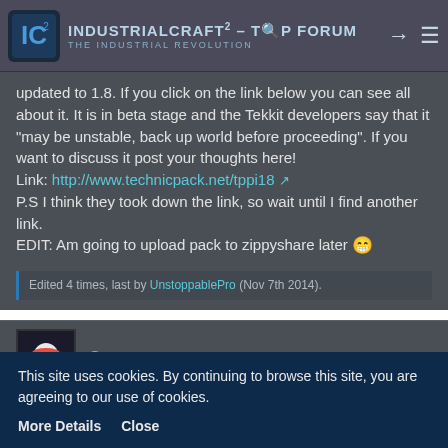IndustrialCraft² - Top Forum - The Industrial Revolution
updated to 1.8. If you click on the link below you can see all about it. It is in beta stage and the Tekkit developers say that it "may be unstable, back up world before proceeding". If you want to discuss it post your thoughts here!
Link: http://www.technicpack.net/tppi18
P.S I think they took down the link, so wait until I find another link.
EDIT: Am going to upload pack to zippyshare later 😁
Edited 4 times, last by UnstoppablePro (Nov 7th 2014).
Queue
This site uses cookies. By continuing to browse this site, you are agreeing to our use of cookies.
More Details   Close